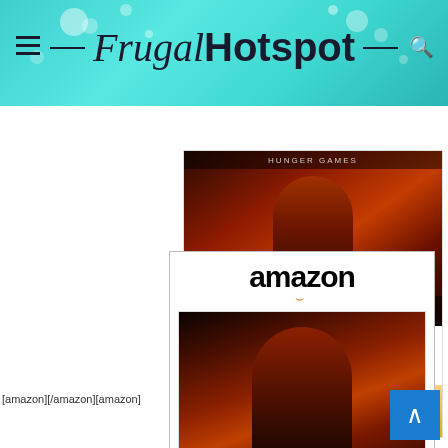Frugal Hotspot
[Figure (screenshot): Amazon product card: The Hunger Games DVD, $9.99, with Prime badge and Shop now button]
[Figure (screenshot): Amazon product card: The Hunger Games:... DVD, $8.99, with Prime badge and Shop now button]
[amazon][/amazon][amazon]
[Figure (screenshot): Amazon native ad card: The Hunger Games: Mockingjay Part 1 DVD]
The Hunger Games:...